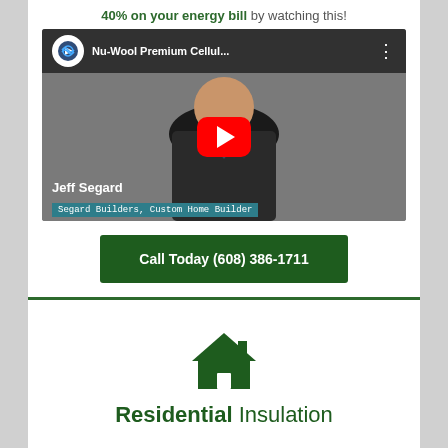40% on your energy bill by watching this!
[Figure (screenshot): YouTube video thumbnail showing Jeff Segard, Segard Builders Custom Home Builder, with Nu-Wool Premium Cellulose video title and red play button]
Call Today (608) 386-1711
[Figure (illustration): Green house icon]
Residential Insulation